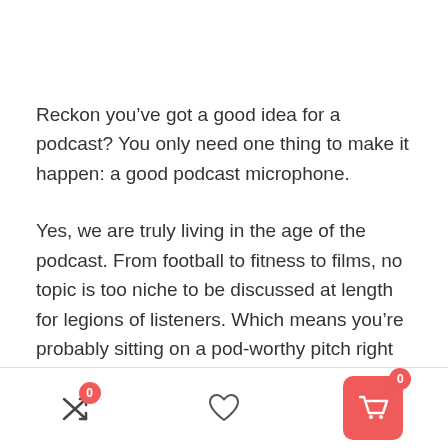Reckon you’ve got a good idea for a podcast? You only need one thing to make it happen: a good podcast microphone.
Yes, we are truly living in the age of the podcast. From football to fitness to films, no topic is too niche to be discussed at length for legions of listeners. Which means you’re probably sitting on a pod-worthy pitch right now.
Navigation bar with shuffle icon (badge 0), heart icon, and cart icon (badge 0)